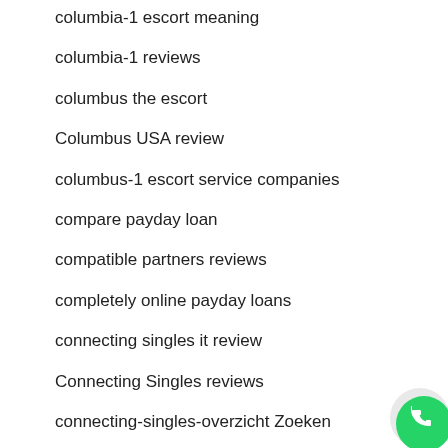columbia-1 escort meaning
columbia-1 reviews
columbus the escort
Columbus USA review
columbus-1 escort service companies
compare payday loan
compatible partners reviews
completely online payday loans
connecting singles it review
Connecting Singles reviews
connecting-singles-overzicht Zoeken
[Figure (other): WhatsApp contact button (green circle with phone icon) in bottom-right corner]